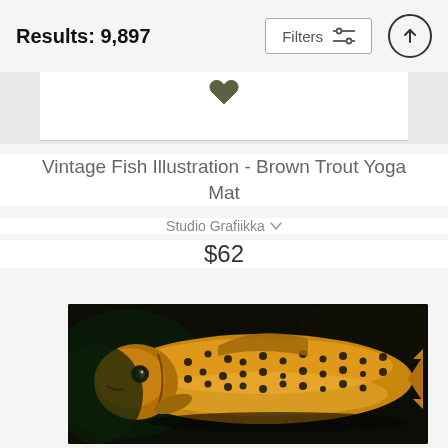Results: 9,897
Vintage Fish Illustration - Brown Trout Yoga Mat
Studio Grafiikka
$62
[Figure (photo): Close-up photo of a brown trout fish with golden-yellow body covered in black spots, photographed against a dark background]